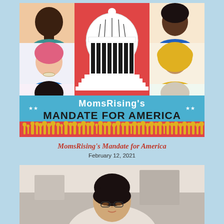[Figure (illustration): MomsRising's Mandate for America book/report cover illustration. Features a US Capitol dome in the center on a red/coral background, surrounded by diverse illustrated women portraits in grid panels. Blue banner at bottom reads 'MomsRising's Mandate for America' with stars. Bottom strip shows yellow silhouettes of families and individuals.]
MomsRising's Mandate for America
February 12, 2021
[Figure (photo): Photo of a woman with dark hair, looking slightly downward, seated indoors with a blurred interior background.]